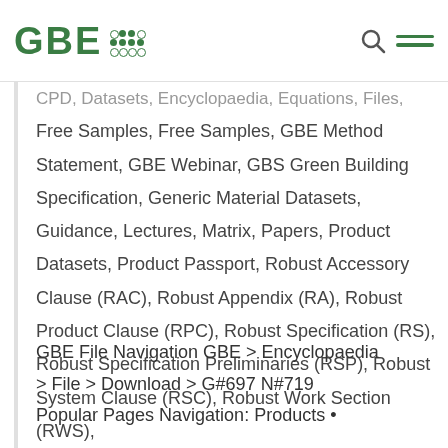GBE [logo with dot grid]
CPD, Datasets, Encyclopaedia, Equations, Files, Free Samples, Free Samples, GBE Method Statement, GBE Webinar, GBS Green Building Specification, Generic Material Datasets, Guidance, Lectures, Matrix, Papers, Product Datasets, Product Passport, Robust Accessory Clause (RAC), Robust Appendix (RA), Robust Product Clause (RPC), Robust Specification (RS), Robust Specification Preliminaries (RSP), Robust System Clause (RSC), Robust Work Section (RWS), Specification, Specifications, Work sections | No Comments
GBE File Navigation GBE > Encyclopaedia > File > Download > G#697 N#719 Popular Pages Navigation: Products •